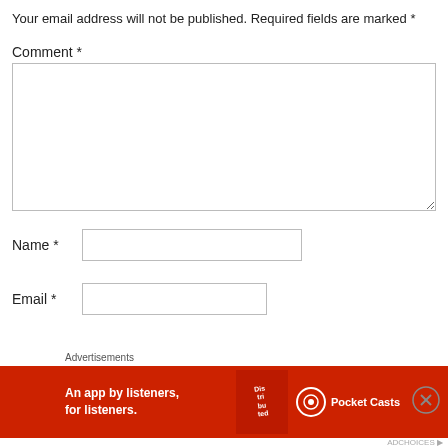Your email address will not be published. Required fields are marked *
Comment *
[Figure (screenshot): Empty comment textarea input field with resize handle at bottom-right]
Name *
[Figure (screenshot): Empty name text input field]
Email *
[Figure (screenshot): Empty email text input field]
[Figure (infographic): Pocket Casts advertisement banner: 'An app by listeners, for listeners.' with red background and phone image]
Advertisements